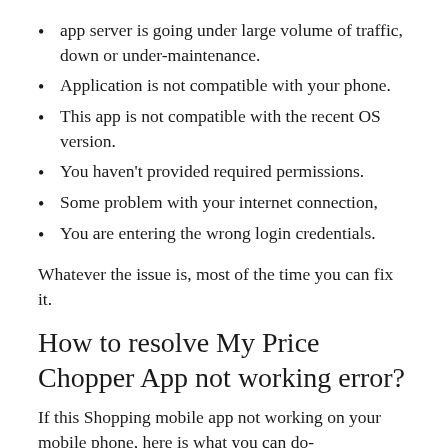app server is going under large volume of traffic, down or under-maintenance.
Application is not compatible with your phone.
This app is not compatible with the recent OS version.
You haven't provided required permissions.
Some problem with your internet connection,
You are entering the wrong login credentials.
Whatever the issue is, most of the time you can fix it.
How to resolve My Price Chopper App not working error?
If this Shopping mobile app not working on your mobile phone, here is what you can do-